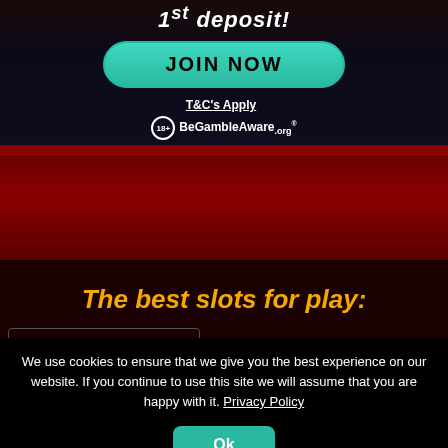[Figure (screenshot): Casino advertisement banner with deposit text, JOIN NOW button in teal/cyan, T&C's Apply text, 18+ badge, and BeGambleAware.org logo on dark navy background]
[Figure (screenshot): Dark red/crimson banner section]
The best slots for play:
We use cookies to ensure that we give you the best experience on our website. If you continue to use this site we will assume that you are happy with it. Privacy Policy
Ok